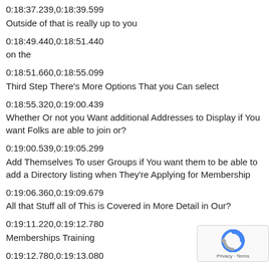0:18:37.239,0:18:39.599
Outside of that is really up to you
0:18:49.440,0:18:51.440
on the
0:18:51.660,0:18:55.099
Third Step There's More Options That you Can select
0:18:55.320,0:19:00.439
Whether Or not you Want additional Addresses to Display if You want Folks are able to join or?
0:19:00.539,0:19:05.299
Add Themselves To user Groups if You want them to be able to add a Directory listing when They're Applying for Membership
0:19:06.360,0:19:09.679
All that Stuff all of This is Covered in More Detail in Our?
0:19:11.220,0:19:12.780
Memberships Training
0:19:12.780,0:19:13.080